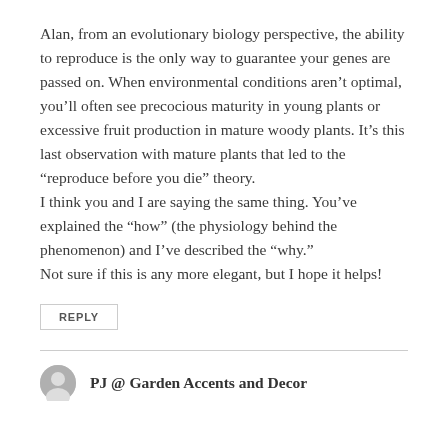Alan, from an evolutionary biology perspective, the ability to reproduce is the only way to guarantee your genes are passed on. When environmental conditions aren't optimal, you'll often see precocious maturity in young plants or excessive fruit production in mature woody plants. It's this last observation with mature plants that led to the “reproduce before you die” theory.
I think you and I are saying the same thing. You’ve explained the “how” (the physiology behind the phenomenon) and I’ve described the “why.”
Not sure if this is any more elegant, but I hope it helps!
REPLY
PJ @ Garden Accents and Decor